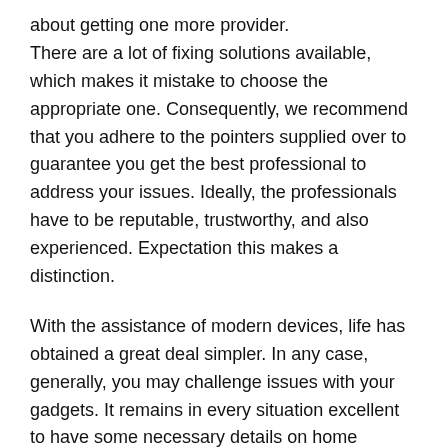about getting one more provider. There are a lot of fixing solutions available, which makes it mistake to choose the appropriate one. Consequently, we recommend that you adhere to the pointers supplied over to guarantee you get the best professional to address your issues. Ideally, the professionals have to be reputable, trustworthy, and also experienced. Expectation this makes a distinction.
With the assistance of modern devices, life has obtained a great deal simpler. In any case, generally, you may challenge issues with your gadgets. It remains in every situation excellent to have some necessary details on home appliance repair service. However, it is much better on the off chance that you obtain outstanding, prepared, as well as reputable professionals with extended periods of experience and references to fix your gizmos if the concerns are severe. Regardless, you should commit some time and effort in finding